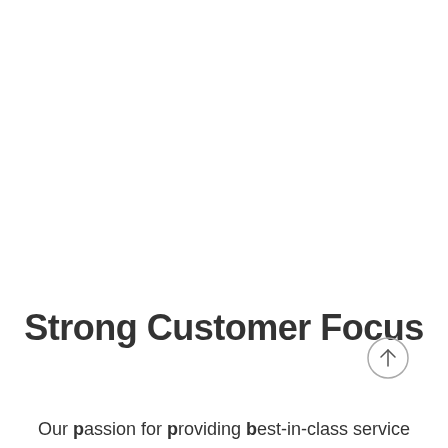Strong Customer Focus
Our passion for providing best-in-class service